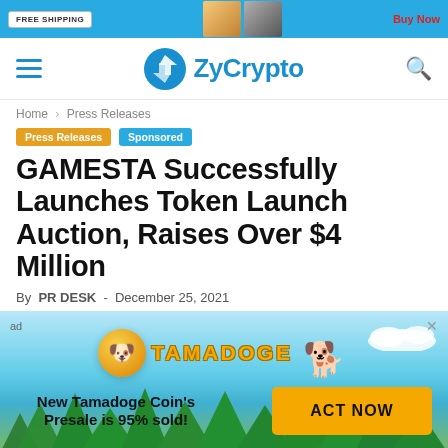FREE SHIPPING | [ad banner] | [buy now]
ZyCrypto
Home › Press Releases
Press Releases   Sponsored
GAMESTA Successfully Launches Token Launch Auction, Raises Over $4 Million
By PR DESK - December 25, 2021
[Figure (advertisement): Tamadoge advertisement banner with light blue sky and tree background. Shows Tamadoge coin logo and mascot dog. Text reads: 'New Tamadoge Coin's Presale is 95% sold!' with an orange ACT NOW button.]